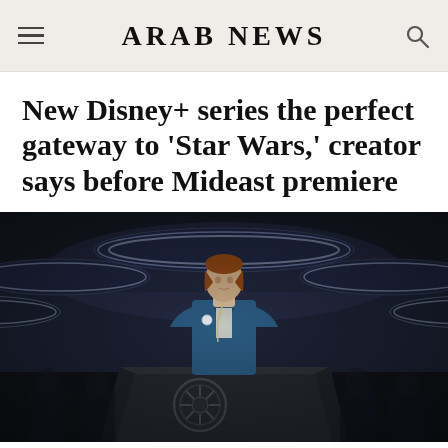ARAB NEWS
New Disney+ series the perfect gateway to 'Star Wars,' creator says before Mideast premiere
[Figure (photo): A woman in a blue blazer stands in a futuristic sci-fi interior with glowing circular lights overhead and an Imperial seal visible on a podium in the foreground, from a Star Wars Disney+ series.]